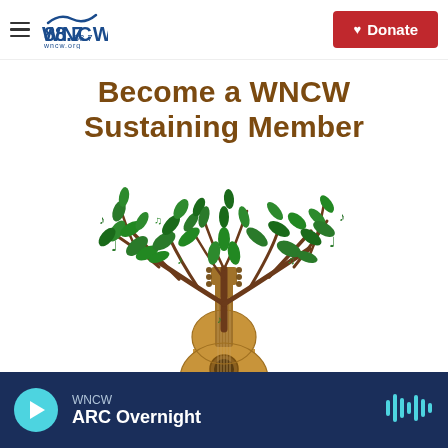WNCW 88.7 — wncw.org | Donate
Become a WNCW Sustaining Member
[Figure (illustration): A tree illustration where the trunk is shaped like an acoustic guitar, with green leaves and musical notes forming the canopy of the tree. The guitar body is brown/tan colored at the base.]
WNCW — ARC Overnight